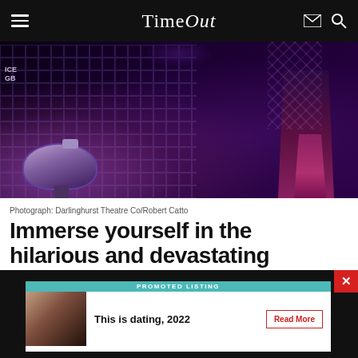Time Out
[Figure (photo): Dark theatrical scene showing a bathroom setting with a purple-lit sink on the left and a person's legs in a short skirt on the right, against tiled walls]
Photograph: Darlinghurst Theatre Co/Robert Catto
Immerse yourself in the hilarious and devastating Overflow
Theatre
Drama
PROMOTED LISTING
This is dating, 2022